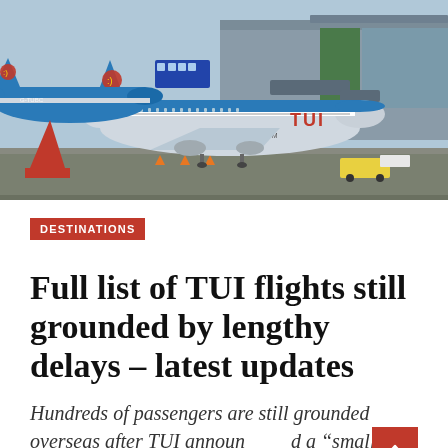[Figure (photo): TUI airlines aircraft parked at airport terminal, showing two large blue TUI-branded planes with red smiley face logos on tail fins. Text 'TUI' and 'TUI.COM' visible on fuselage. Airport ground vehicles and terminal building in background.]
DESTINATIONS
Full list of TUI flights still grounded by lengthy delays – latest updates
Hundreds of passengers are still grounded overseas after TUI announced a "small number" of flight